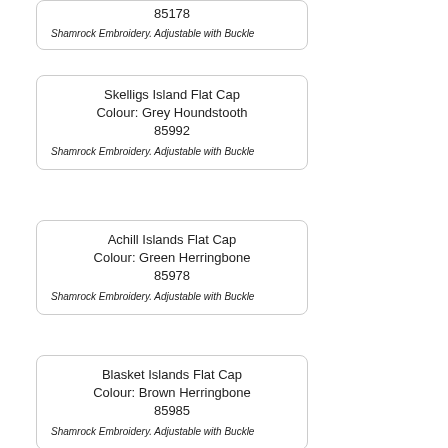85178
Shamrock Embroidery. Adjustable with Buckle
Skelligs Island Flat Cap
Colour: Grey Houndstooth
85992
Shamrock Embroidery. Adjustable with Buckle
Achill Islands Flat Cap
Colour: Green Herringbone
85978
Shamrock Embroidery. Adjustable with Buckle
Blasket Islands Flat Cap
Colour: Brown Herringbone
85985
Shamrock Embroidery. Adjustable with Buckle
Patchwork Flat Cap
Colour: Green
90187
Shamrock Embroidery. Adjustable with Buckle